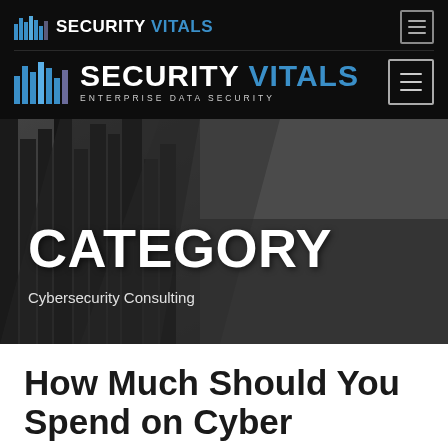[Figure (logo): Security Vitals logo small - bar chart icon with text SECURITY VITALS in white and blue]
[Figure (logo): Security Vitals logo large - bar chart icon with text SECURITY VITALS in white and blue, tagline ENTERPRISE DATA SECURITY]
CATEGORY
Cybersecurity Consulting
How Much Should You Spend on Cyber